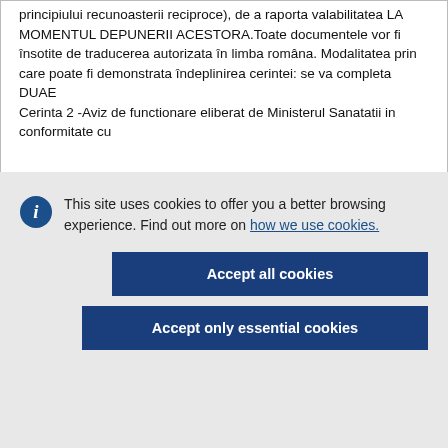principiului recunoasterii reciproce), de a raporta valabilitatea LA MOMENTUL DEPUNERII ACESTORA.Toate documentele vor fi însotite de traducerea autorizata în limba româna. Modalitatea prin care poate fi demonstrata îndeplinirea cerintei: se va completa DUAE
Cerinta 2 -Aviz de functionare eliberat de Ministerul Sanatatii in conformitate cu
This site uses cookies to offer you a better browsing experience. Find out more on how we use cookies.